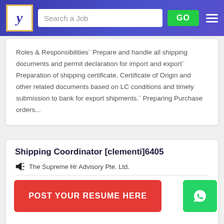[Figure (screenshot): Job portal website header with logo (stylized Y), search bar with 'Search a Job' placeholder, green GO button, and hamburger menu on a blue-purple gradient background.]
Roles & Responsibilities¨ Prepare and handle all shipping documents and permit declaration for import and export¨ Preparation of shipping certificate, Certificate of Origin and other related documents based on LC conditions and timely submission to bank for export shipments.¨ Preparing Purchase orders...
Shipping Coordinator [clementi]6405
The Supreme Hr Advisory Pte. Ltd.
Industry : Computers / IT